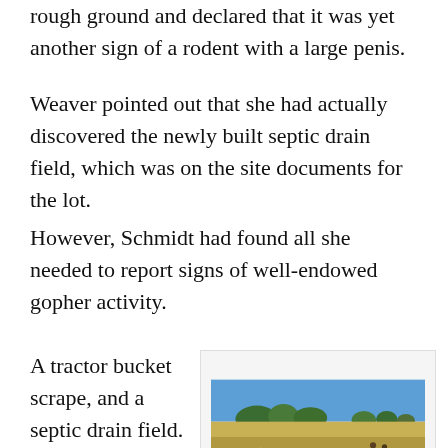rough ground and declared that it was yet another sign of a rodent with a large penis.
Weaver pointed out that she had actually discovered the newly built septic drain field, which was on the site documents for the lot.
However, Schmidt had found all she needed to report signs of well-endowed gopher activity.
A tractor bucket scrape, and a septic drain field.
[Figure (photo): Outdoor field photograph showing tall dry golden grass in the foreground with trees and blue sky in the background, and people visible in the right portion of the image near a new house site.]
Height of Dry Grass in “Gopher Park” Compared to People in New House Site. Photo by Steve Genson
That was all that was needed for